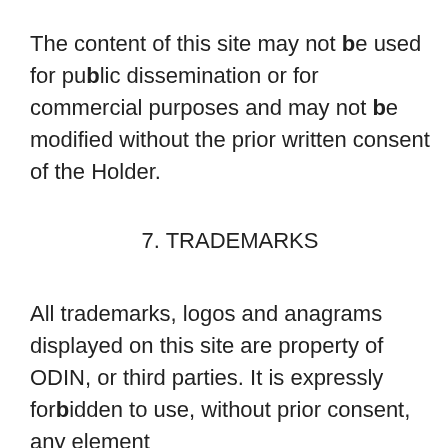The content of this site may not be used for public dissemination or for commercial purposes and may not be modified without the prior written consent of the Holder.
7. TRADEMARKS
All trademarks, logos and anagrams displayed on this site are property of ODIN, or third parties. It is expressly forbidden to use, without prior consent, any element of this site in the context of this